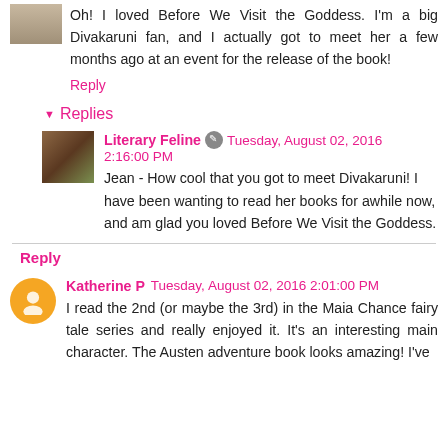Oh! I loved Before We Visit the Goddess. I'm a big Divakaruni fan, and I actually got to meet her a few months ago at an event for the release of the book!
Reply
Replies
Literary Feline  Tuesday, August 02, 2016 2:16:00 PM
Jean - How cool that you got to meet Divakaruni! I have been wanting to read her books for awhile now, and am glad you loved Before We Visit the Goddess.
Reply
Katherine P  Tuesday, August 02, 2016 2:01:00 PM
I read the 2nd (or maybe the 3rd) in the Maia Chance fairy tale series and really enjoyed it. It's an interesting main character. The Austen adventure book looks amazing! I've